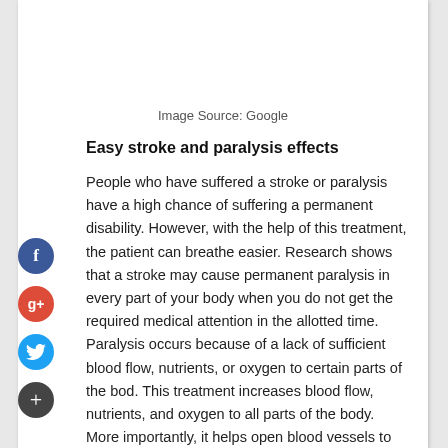Image Source: Google
Easy stroke and paralysis effects
People who have suffered a stroke or paralysis have a high chance of suffering a permanent disability. However, with the help of this treatment, the patient can breathe easier. Research shows that a stroke may cause permanent paralysis in every part of your body when you do not get the required medical attention in the allotted time. Paralysis occurs because of a lack of sufficient blood flow, nutrients, or oxygen to certain parts of the bod. This treatment increases blood flow, nutrients, and oxygen to all parts of the body. More importantly, it helps open blood vessels to collapse and reduce stress and pain.